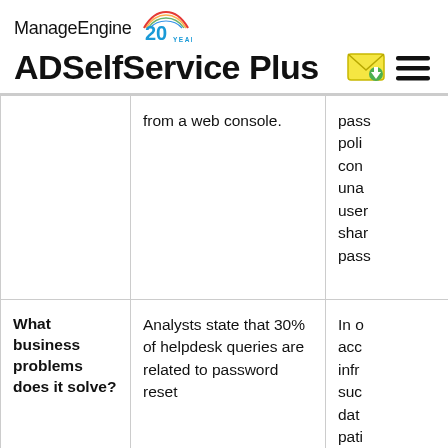ManageEngine 20 YEARS ADSelfService Plus
|  | from a web console. | pass poli con una user shar pass |
| What business problems does it solve? | Analysts state that 30% of helpdesk queries are related to password reset | In o acc infr suc dat pati |